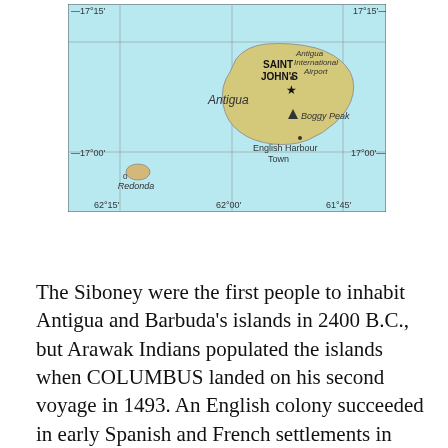[Figure (map): Map of Antigua and Barbuda islands showing Saint John's (capital city marked with star), Boggy Peak, English Harbour Town, Antigua International Airport, and the island of Redonda. Coordinate grid lines shown at 17°15', 17°00', 62°15', 62°00', 61°45'.]
The Siboney were the first people to inhabit Antigua and Barbuda's islands in 2400 B.C., but Arawak Indians populated the islands when COLUMBUS landed on his second voyage in 1493. An English colony succeeded in early Spanish and French settlements in 1667. Slavery, established to run the sugar plantations on Antigua, was abolished in 1834. The islands became an independent state within the British Commonwealth of Nations in 1981. On 6 September 2017, Hurricane Irma passed